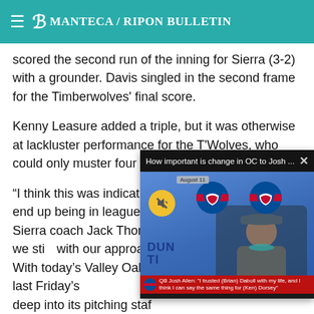Manteca / Ripon Bulletin
scored the second run of the inning for Sierra (3-2) with a grounder. Davis singled in the second frame for the Timberwolves' final score.
Kenny Leasure added a triple, but it was otherwise at lackluster performance for the T'Wolves, who could only muster four hits offensively.
“I think this was indicative of how our games may end up being in league because I don’t’ kno Sierra coach Jack Thomson OK, but offensively we sti with our approach at the p
[Figure (screenshot): Video overlay popup: 'How important is change in OC to Josh ...' with an X close button. Shows a Buffalo Bills press conference screenshot with Josh Allen. Bottom caption bar reads: QB Josh Allen: 'I trusted (Brian) Daboll with my life, and I think I can say the same thing for (Ken) Dorsey'. Has a muted audio button icon and 'August 11' date label.]
With today’s Valley Oak Le coupled with last Friday’s deep into its pitching staf